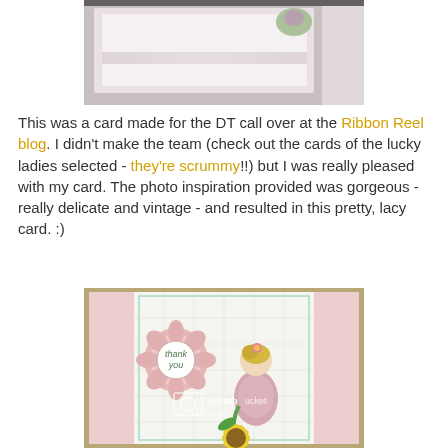[Figure (photo): Top portion of a handmade card showing pink/white layered card with a flower embellishment and ribbon, viewed from above at an angle.]
This was a card made for the DT call over at the Ribbon Reel blog. I didn't make the team (check out the cards of the lucky ladies selected - they're scrummy!!) but I was really pleased with my card. The photo inspiration provided was gorgeous - really delicate and vintage - and resulted in this pretty, lacy card. :)
[Figure (photo): Handmade greeting card featuring a little girl stamp image holding a sunflower, with pink lace/textured borders, mint green mat, checkered background, and a pink flower die cut with 'thank you' sentiment circle.]